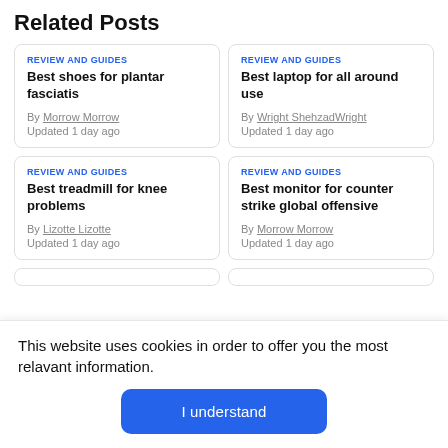Related Posts
REVIEW AND GUIDES
Best shoes for plantar fasciatis
By Morrow Morrow
Updated 1 day ago
REVIEW AND GUIDES
Best laptop for all around use
By Wright ShehzadWright
Updated 1 day ago
REVIEW AND GUIDES
Best treadmill for knee problems
By Lizotte Lizotte
Updated 1 day ago
REVIEW AND GUIDES
Best monitor for counter strike global offensive
By Morrow Morrow
Updated 1 day ago
This website uses cookies in order to offer you the most relavant information.
I understand